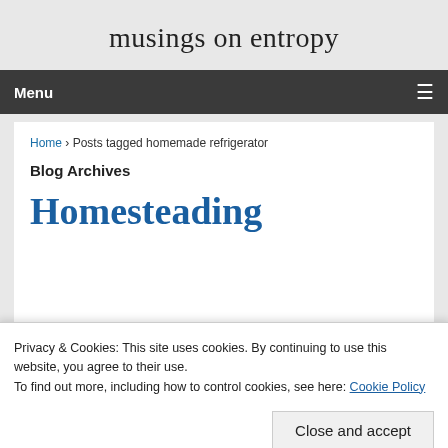musings on entropy
Menu
Home › Posts tagged homemade refrigerator
Blog Archives
Homesteading
Privacy & Cookies: This site uses cookies. By continuing to use this website, you agree to their use.
To find out more, including how to control cookies, see here: Cookie Policy
Close and accept
Posted on July 9, 2018 by mcpletcher — 1 Comment